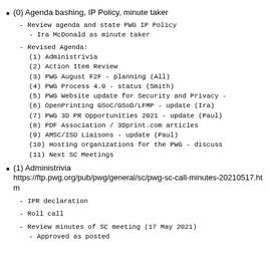(0) Agenda bashing, IP Policy, minute taker
- Review agenda and state PWG IP Policy
    - Ira McDonald as minute taker

- Revised Agenda:
    (1) Administrivia
    (2) Action Item Review
    (3) PWG August F2F - planning (All)
    (4) PWG Process 4.0 - status (Smith)
    (5) PWG Website update for Security and Privacy -
    (6) OpenPrinting GSoC/GSoD/LFMP - update (Ira)
    (7) PWG 3D PR Opportunities 2021 - update (Paul)
    (8) PDF Association / 3Dprint.com articles
    (9) AMSC/ISO Liaisons - update (Paul)
    (10) Hosting organizations for the PWG - discuss
    (11) Next SC Meetings
(1) Administrivia
https://ftp.pwg.org/pub/pwg/general/sc/pwg-sc-call-minutes-20210517.htm
- IPR declaration
- Roll call
- Review minutes of SC meeting (17 May 2021)
    - Approved as posted